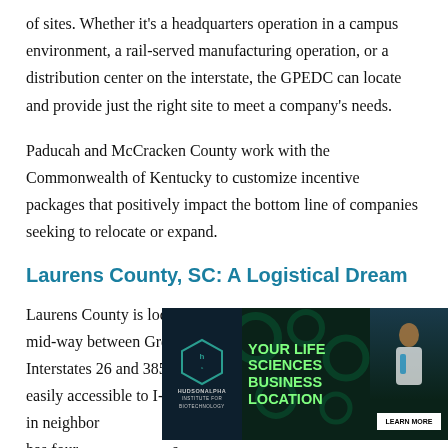of sites. Whether it's a headquarters operation in a campus environment, a rail-served manufacturing operation, or a distribution center on the interstate, the GPEDC can locate and provide just the right site to meet a company's needs.
Paducah and McCracken County work with the Commonwealth of Kentucky to customize incentive packages that positively impact the bottom line of companies seeking to relocate or expand.
Laurens County, SC: A Logistical Dream
Laurens County is located in the upstate of South Carolina mid-way between Greenville-Spartanburg and Columbia. Interstates 26 and 385 bisect the county, which makes it easily accessible to I-85 and the Port of Charleston. HudsonAlpha Institute for Biotechnology is located in neighboring [text obscured by ad] distance away and [text obscured] County has four [text obscured].
[Figure (other): HudsonAlpha Institute for Biotechnology advertisement overlay: 'YOUR LIFE SCIENCES BUSINESS LOCATION' with LEARN MORE button, dark background with green hexagon graphics and photo of scientist]